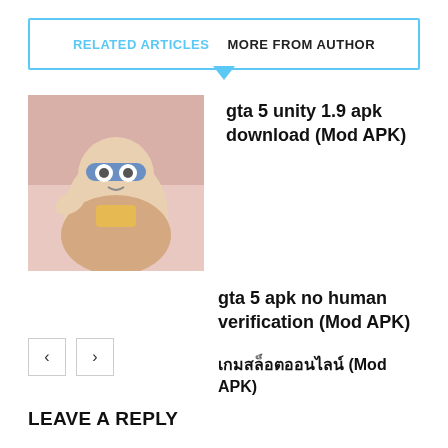RELATED ARTICLES   MORE FROM AUTHOR
gta 5 unity 1.9 apk download (Mod APK)
gta 5 apk no human verification (Mod APK)
เกมสล็อตออนไลน์ (Mod APK)
LEAVE A REPLY